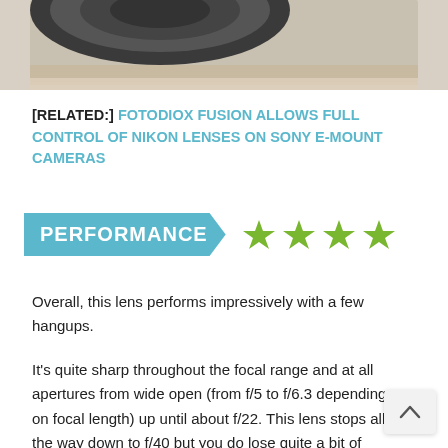[Figure (photo): Close-up photo of a camera lens partially visible at the top of the page]
[RELATED:] FOTODIOX FUSION ALLOWS FULL CONTROL OF NIKON LENSES ON SONY E-MOUNT CAMERAS
[Figure (infographic): PERFORMANCE badge in teal with 4 green stars rating]
Overall, this lens performs impressively with a few hangups.
It's quite sharp throughout the focal range and at all apertures from wide open (from f/5 to f/6.3 depending on focal length) up until about f/22. This lens stops all the way down to f/40 but you do lose quite a bit of sharpness to